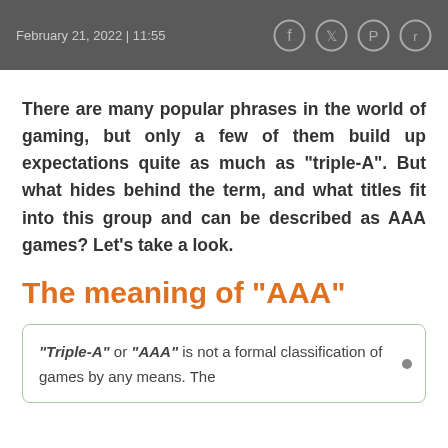February 21, 2022 | 11:55
There are many popular phrases in the world of gaming, but only a few of them build up expectations quite as much as “triple-A”. But what hides behind the term, and what titles fit into this group and can be described as AAA games? Let’s take a look.
The meaning of “AAA”
“Triple-A” or “AAA” is not a formal classification of games by any means. The